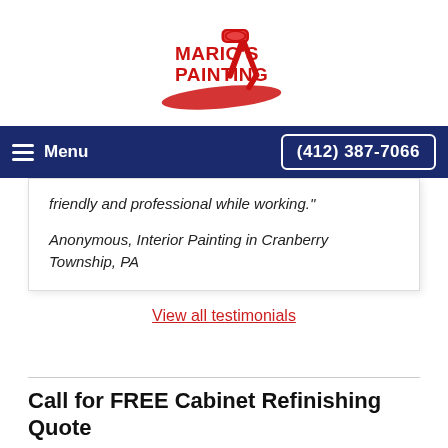[Figure (logo): Mario's Painting logo with red text and paint roller graphic]
Menu  (412) 387-7066
friendly and professional while working."
Anonymous, Interior Painting in Cranberry Township, PA
View all testimonials
Call for FREE Cabinet Refinishing Quote